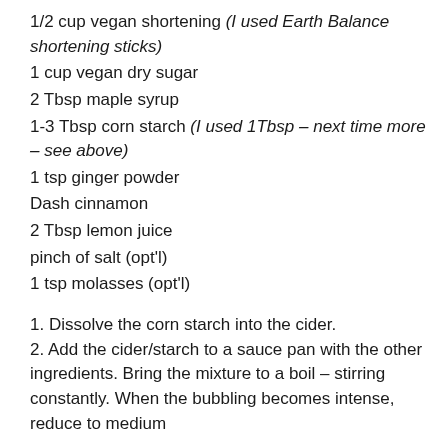1/2 cup vegan shortening (I used Earth Balance shortening sticks)
1 cup vegan dry sugar
2 Tbsp maple syrup
1-3 Tbsp corn starch (I used 1Tbsp – next time more – see above)
1 tsp ginger powder
Dash cinnamon
2 Tbsp lemon juice
pinch of salt (opt'l)
1 tsp molasses (opt'l)
1. Dissolve the corn starch into the cider.
2. Add the cider/starch to a sauce pan with the other ingredients. Bring the mixture to a boil – stirring constantly. When the bubbling becomes intense, reduce to medium